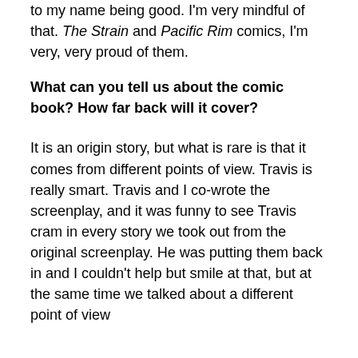to my name being good. I'm very mindful of that. The Strain and Pacific Rim comics, I'm very, very proud of them.
What can you tell us about the comic book? How far back will it cover?
It is an origin story, but what is rare is that it comes from different points of view. Travis is really smart. Travis and I co-wrote the screenplay, and it was funny to see Travis cram in every story we took out from the original screenplay. He was putting them back in and I couldn't help but smile at that, but at the same time we talked about a different point of view